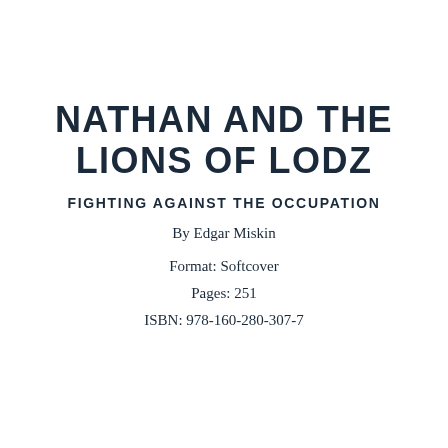NATHAN AND THE LIONS OF LODZ
FIGHTING AGAINST THE OCCUPATION
By Edgar Miskin
Format: Softcover
Pages: 251
ISBN: 978-160-280-307-7